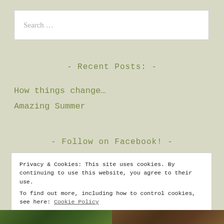Search …
- Recent Posts: -
How things change…
Amazing Summer
- Follow on Facebook! -
Privacy & Cookies: This site uses cookies. By continuing to use this website, you agree to their use.
To find out more, including how to control cookies, see here: Cookie Policy
Close and accept
[Figure (photo): Two photo thumbnails at the bottom of the page — left is a green outdoor/nature scene, right is a warmer-toned outdoor scene]